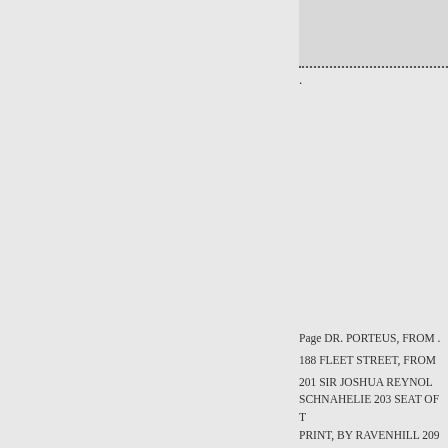[Figure (other): A scanned image or illustration placeholder at top right of the page, light gray rectangle with dotted border at bottom.]
.
Page DR. PORTEUS, FROM .
188 FLEET STREET, FROM
201 SIR JOSHUA REYNOLD... SCHNAHELIE 203 SEAT OF T... PRINT, BY RAVENHILL 209 M...
215 ALLAN RAMSAY, FROM...
218 MRS. RUDD, FROM A C... MAGAZINE " 222 JOHNSON A...
232 SIR JOSEPH BANKS, FR...
245 D...t OF GARRICK, BY...